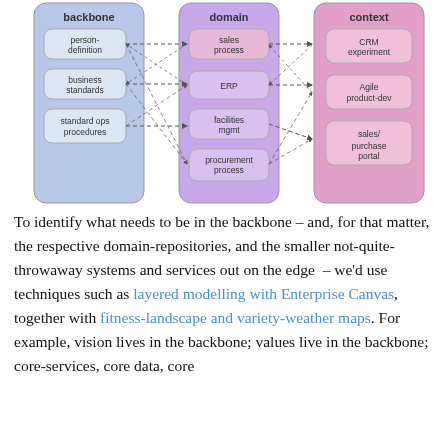[Figure (flowchart): Architecture diagram showing backbone (person-definition, business standards, standard ops procedures), domain layer (sales process, ERP, facilities mgmt, procurement process), and context layer (CRM experiment, Agile product-dev, sales/purchase portal) connected by dashed arrows.]
To identify what needs to be in the backbone – and, for that matter, the respective domain-repositories, and the smaller not-quite-throwaway systems and services out on the edge – we'd use techniques such as layered modelling with Enterprise Canvas, together with fitness-landscape and variety-weather maps. For example, vision lives in the backbone; values live in the backbone; core-services, core data, core capabilities and core conditions also belong there.